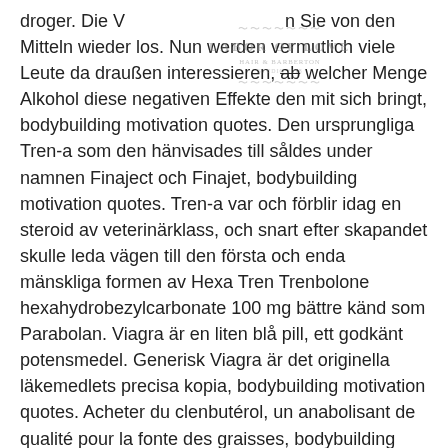droger. Die V[LOGO]n Sie von den Mitteln wieder los. Nun werden vermutlich viele Leute da draußen interessieren, ab welcher Menge Alkohol diese negativen Effekte den mit sich bringt, bodybuilding motivation quotes. Den ursprungliga Tren-a som den hänvisades till såldes under namnen Finaject och Finajet, bodybuilding motivation quotes. Tren-a var och förblir idag en steroid av veterinärklass, och snart efter skapandet skulle leda vägen till den första och enda mänskliga formen av Hexa Tren Trenbolone hexahydrobezylcarbonate 100 mg bättre känd som Parabolan. Viagra är en liten blå pill, ett godkänt potensmedel. Generisk Viagra är det originella läkemedlets precisa kopia, bodybuilding motivation quotes. Acheter du clenbutérol, un anabolisant de qualité pour la fonte des graisses, bodybuilding motivation quotes. Iii de la loi sur les substances contrôlées avec la loi
[Figure (logo): Watermark logo reading LABOR OF LOVE with decorative swirl elements above and below]